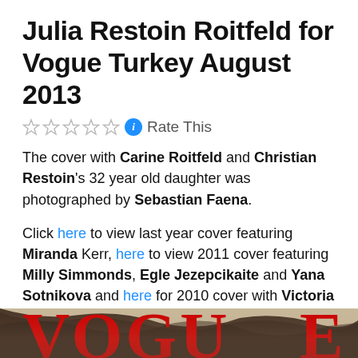Julia Restoin Roitfeld for Vogue Turkey August 2013
Rate This
The cover with Carine Roitfeld and Christian Restoin's 32 year old daughter was photographed by Sebastian Faena.
Click here to view last year cover featuring Miranda Kerr, here to view 2011 cover featuring Milly Simmonds, Egle Jezepcikaite and Yana Sotnikova and here for 2010 cover with Victoria Beckham.
Image via Glossy Newsstand.
[Figure (photo): Bottom strip showing the top of a Vogue magazine cover with large red VOGUE letters and dark hair visible]